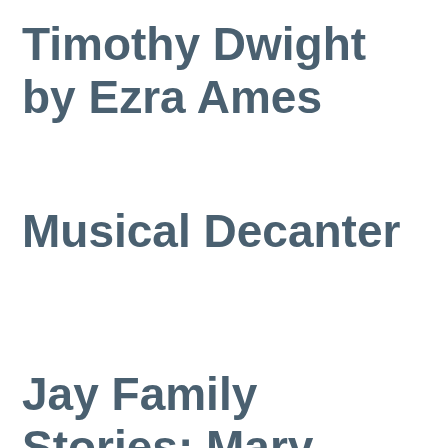Timothy Dwight by Ezra Ames
Musical Decanter
Jay Family Stories: Mary Rutherfurd Jay